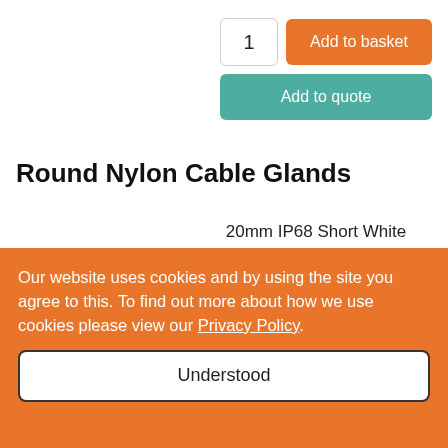[Figure (screenshot): Quantity input box showing '1' and orange 'Add to basket' button, with teal 'Add to quote' button below]
Round Nylon Cable Glands
20mm IP68 Short White Stuffing Dome Top Gland – Pack of 10
Short - Pack of 10
Our website uses cookies and by using the site you agree to this. To find out more about how we use cookies please view our Privacy Policy.
Understood